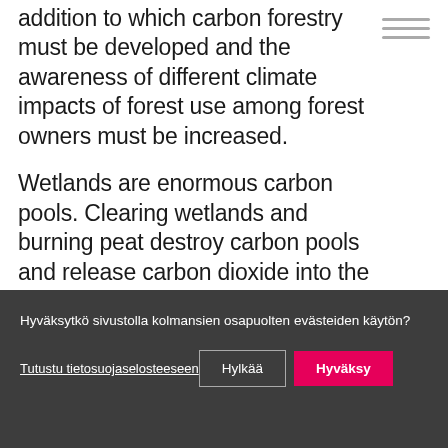addition to which carbon forestry must be developed and the awareness of different climate impacts of forest use among forest owners must be increased.
Wetlands are enormous carbon pools. Clearing wetlands and burning peat destroy carbon pools and release carbon dioxide into the atmosphere.
Hyväksytkö sivustolla kolmansien osapuolten evästeiden käytön?
Tutustu tietosuojaselosteeseen
Hylkää
Hyväksy